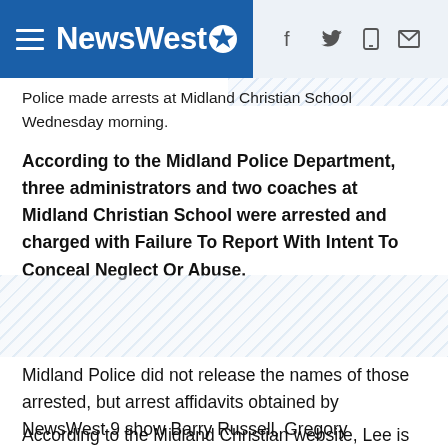NewsWest 9
Police made arrests at Midland Christian School Wednesday morning.
According to the Midland Police Department, three administrators and two coaches at Midland Christian School were arrested and charged with Failure To Report With Intent To Conceal Neglect Or Abuse.
Midland Police did not release the names of those arrested, but arrest affidavits obtained by NewsWest 9 show Barry Russell, Gregory McClendon, Matthew Counts, Jared Lee and Dana Ellis were all interviewed regarding a sexual assault.
According to the Midland Christian website, Lee is the